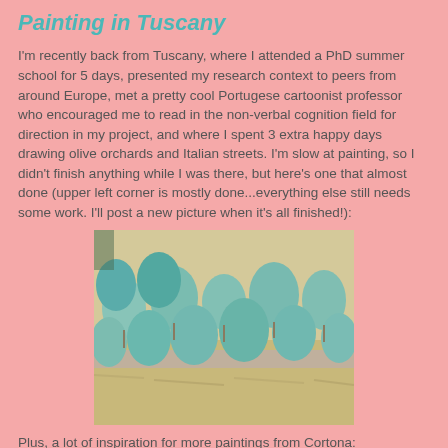Painting in Tuscany
I'm recently back from Tuscany, where I attended a PhD summer school for 5 days, presented my research context to peers from around Europe, met a pretty cool Portugese cartoonist professor who encouraged me to read in the non-verbal cognition field for direction in my project, and where I spent 3 extra happy days drawing olive orchards and Italian streets. I'm slow at painting, so I didn't finish anything while I was there, but here's one that almost done (upper left corner is mostly done...everything else still needs some work. I'll post a new picture when it's all finished!):
[Figure (photo): A painting in progress showing olive orchards with blue-green trees on a yellow-ochre landscape, painted in a loose impressionistic style.]
Plus, a lot of inspiration for more paintings from Cortona: